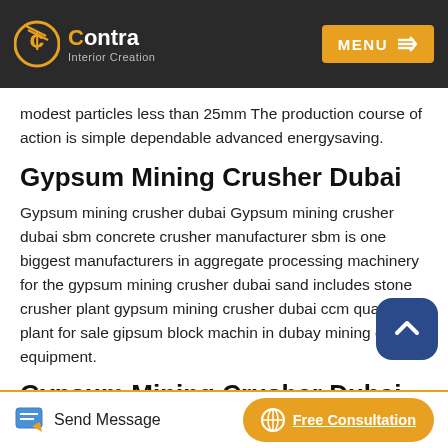Contra Interior Creation — MENU
modest particles less than 25mm The production course of action is simple dependable advanced energysaving.
Gypsum Mining Crusher Dubai
Gypsum mining crusher dubai Gypsum mining crusher dubai sbm concrete crusher manufacturer sbm is one biggest manufacturers in aggregate processing machinery for the gypsum mining crusher dubai sand includes stone crusher plant gypsum mining crusher dubai ccm quarry plant for sale gipsum block machin in dubay mining crusher equipment.
Gypsum Mining Crusher Dubai
Send Message   Free Consultation